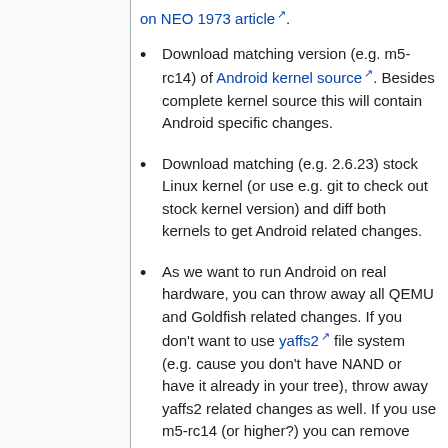on NEO 1973 article.
Download matching version (e.g. m5-rc14) of Android kernel source. Besides complete kernel source this will contain Android specific changes.
Download matching (e.g. 2.6.23) stock Linux kernel (or use e.g. git to check out stock kernel version) and diff both kernels to get Android related changes.
As we want to run Android on real hardware, you can throw away all QEMU and Goldfish related changes. If you don't want to use yaffs2 file system (e.g. cause you don't have NAND or have it already in your tree), throw away yaffs2 related changes as well. If you use m5-rc14 (or higher?) you can remove OpenBinder related files.